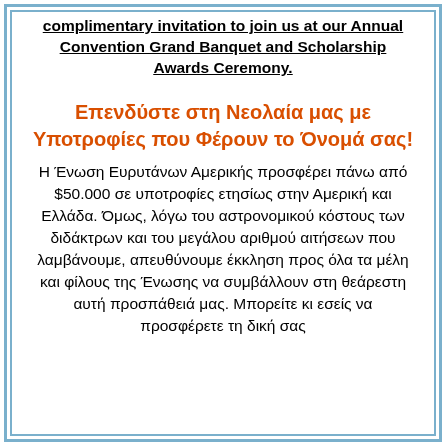complimentary invitation to join us at our Annual Convention Grand Banquet and Scholarship Awards Ceremony.
Επενδύστε στη Νεολαία μας με Υποτροφίες που Φέρουν το Όνομά σας!
Η Ένωση Ευρυτάνων Αμερικής προσφέρει πάνω από $50.000 σε υποτροφίες ετησίως στην Αμερική και Ελλάδα. Όμως, λόγω του αστρονομικού κόστους των διδάκτρων και του μεγάλου αριθμού αιτήσεων που λαμβάνουμε, απευθύνουμε έκκληση προς όλα τα μέλη και φίλους της Ένωσης να συμβάλλουν στη θεάρεστη αυτή προσπάθειά μας. Μπορείτε κι εσείς να προσφέρετε τη δική σας